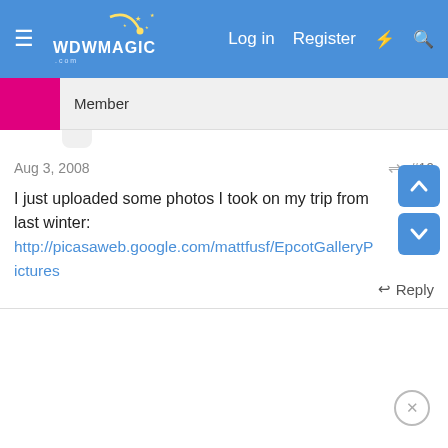WDWMagic — Log in  Register
Member
Aug 3, 2008   #10
I just uploaded some photos I took on my trip from last winter:
http://picasaweb.google.com/mattfusf/EpcotGalleryPictures
Reply